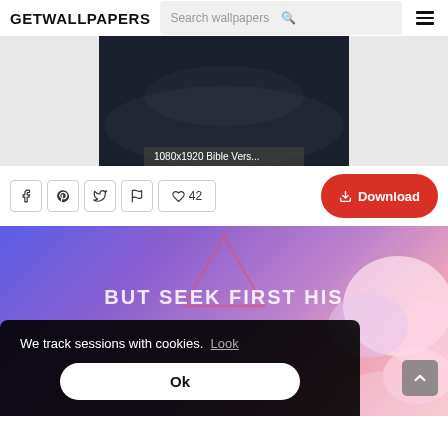GETWALLPAPERS
[Figure (screenshot): Dark wallpaper preview labeled '1080x1920 Bible Vers...' with a calligraphy watermark]
42 likes, Facebook, Pinterest, Twitter, Flag, Download button
[Figure (screenshot): Colorful purple/pink cloudy wallpaper with text 'BUT SEEK FIRST HIS' and a triangle shape]
We track sessions with cookies. Look
Ok